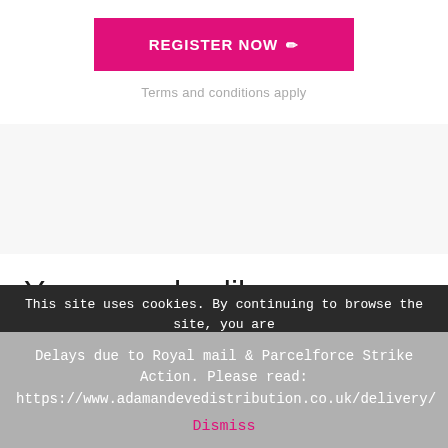[Figure (other): Pink 'REGISTER NOW' button with pencil icon]
Terms and conditions apply
You may also like...
This site uses cookies. By continuing to browse the site, you are
Delays due to Royal mail & Parcelforce Strike Action. Please read: https://www.adamandevedistribution.co.uk/delivery/ Dismiss